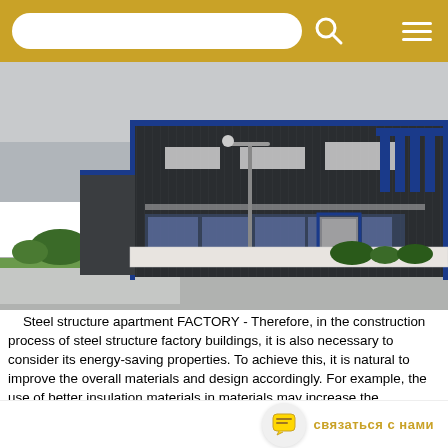[Search bar with navigation icons on gold/yellow background]
[Figure (photo): Exterior photo of a large steel structure factory building with dark corrugated metal cladding and blue trim. A street lamp is visible in the foreground, with a road and green lawn area. The building has multiple loading bays and windows with blue frames. Overcast sky above.]
Steel structure apartment FACTORY - Therefore, in the construction process of steel structure factory buildings, it is also necessary to consider its energy-saving properties. To achieve this, it is natural to improve the overall materials and design accordingly. For example, the use of better insulation materials in materials may increase the construction cost accordingly, but the final use cost will be reduced as a result. At the same time, its design will also have a corresponding impact on energy saving. A good design can reduce the amount of air conditioning and heating in t
связаться с нами